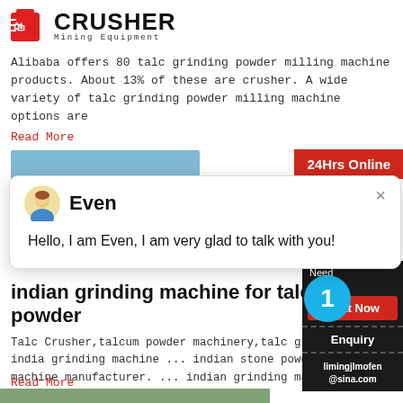[Figure (logo): Crusher Mining Equipment logo with red shopping bag icon and bold CRUSHER text]
Alibaba offers 80 talc grinding powder milling machine products. About 13% of these are crusher. A wide variety of talc grinding powder milling machine options are
Read More
[Figure (screenshot): Chat popup with avatar of support agent 'Even' and message: Hello, I am Even, I am very glad to talk with you!]
indian grinding machine for talcum powder
Talc Crusher,talcum powder machinery,talc grinding india grinding machine ... indian stone powder machine manufacturer. ... indian grinding machine
Read More
[Figure (infographic): Right sidebar with 24Hrs Online badge, Need & suggestions panel, Chat Now button, blue circle with number 1, Enquiry button, limingjlmofen@sina.com contact]